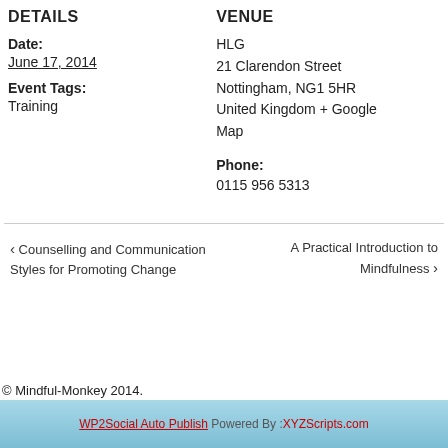DETAILS
Date:
June 17, 2014
Event Tags:
Training
VENUE
HLG
21 Clarendon Street
Nottingham, NG1 5HR
United Kingdom + Google Map
Phone:
0115 956 5313
‹ Counselling and Communication Styles for Promoting Change
A Practical Introduction to Mindfulness ›
© Mindful-Monkey 2014.
WP2Social Auto Publish Powered By : XYZScripts.com